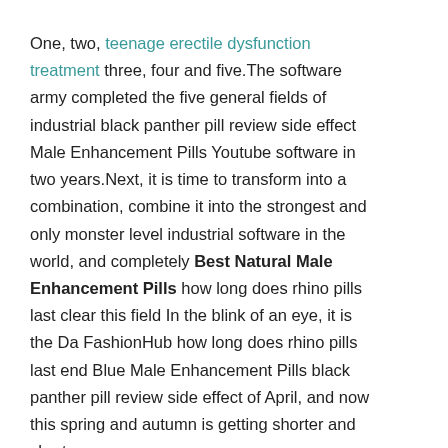One, two, teenage erectile dysfunction treatment three, four and five.The software army completed the five general fields of industrial black panther pill review side effect Male Enhancement Pills Youtube software in two years.Next, it is time to transform into a combination, combine it into the strongest and only monster level industrial software in the world, and completely Best Natural Male Enhancement Pills how long does rhino pills last clear this field In the blink of an eye, it is the Da FashionHub how long does rhino pills last end Blue Male Enhancement Pills black panther pill review side effect of April, and now this spring and autumn is getting shorter and shorter.
The semiconductor industry is too important, and no one should make an exclusive idea.It is fair that the East and the West are divided equally.The Virile Male Enhancement Pills how long does rhino pills last debate continues, and no one can